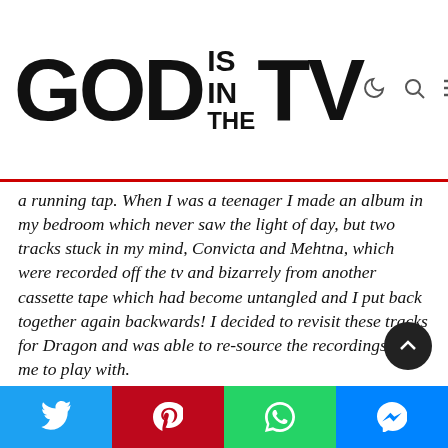GOD IS IN THE TV
a running tap. When I was a teenager I made an album in my bedroom which never saw the light of day, but two tracks stuck in my mind, Convicta and Mehtna, which were recorded off the tv and bizarrely from another cassette tape which had become untangled and I put back together again backwards! I decided to revisit these tracks for Dragon and was able to re-source the recordings for me to play with.

I have a few projects which should see the light of day over the next few months. One is the Breaking EP which will be released via Vulpiano Records on 14 July for
Social share bar: Twitter, Pinterest, WhatsApp, Messenger